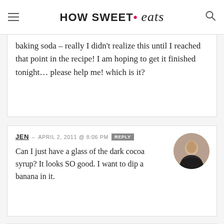HOW SWEET • eats
baking soda – really I didn't realize this until I reached that point in the recipe! I am hoping to get it finished tonight… please help me! which is it?
JEN – APRIL 2, 2011 @ 8:06 PM
Can I just have a glass of the dark cocoa syrup? It looks SO good. I want to dip a banana in it.
KATHLEEN @
KATSHEALTHCORNER – APRIL 2, 2011 @ 8:43 PM